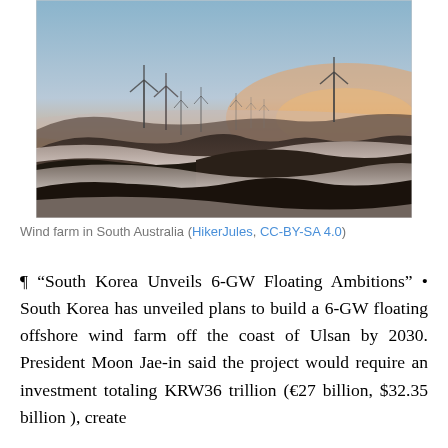[Figure (photo): Wind farm in South Australia at sunset/dusk. Multiple wind turbines silhouetted against a gradient sky (blue at top, orange/peach near horizon) with rolling misty hills in the foreground.]
Wind farm in South Australia (HikerJules, CC-BY-SA 4.0)
¶ “South Korea Unveils 6-GW Floating Ambitions” • South Korea has unveiled plans to build a 6-GW floating offshore wind farm off the coast of Ulsan by 2030. President Moon Jae-in said the project would require an investment totaling KRW36 trillion (€27 billion, $32.35 billion ), create